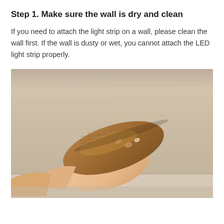Step 1. Make sure the wall is dry and clean
If you need to attach the light strip on a wall, please clean the wall first. If the wall is dusty or wet, you cannot attach the LED light strip properly.
[Figure (photo): A hand holding a brown fabric cloth, wiping a light wood-grain wall surface. The photo shows a close-up of a person cleaning a wall before installing LED light strips.]